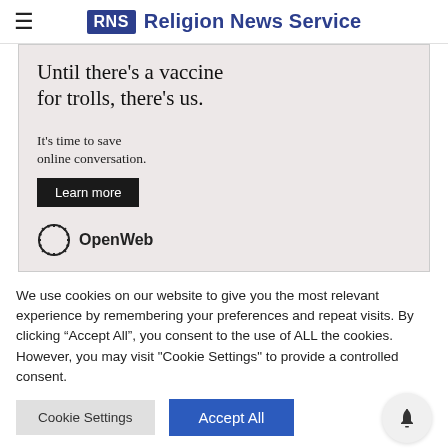≡ RNS Religion News Service
[Figure (other): OpenWeb advertisement banner with text 'Until there's a vaccine for trolls, there's us.' and 'It's time to save online conversation.' with a 'Learn more' button and OpenWeb logo]
We use cookies on our website to give you the most relevant experience by remembering your preferences and repeat visits. By clicking "Accept All", you consent to the use of ALL the cookies. However, you may visit "Cookie Settings" to provide a controlled consent.
Cookie Settings   Accept All